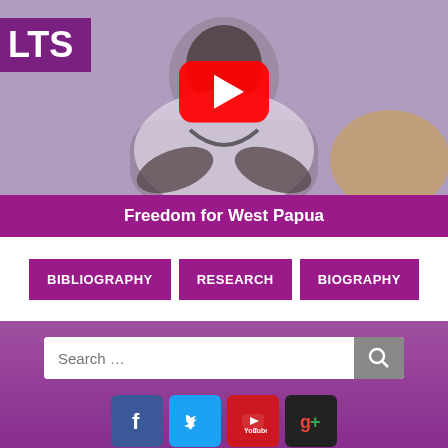[Figure (screenshot): Video thumbnail showing a man speaking, with YouTube play button overlay and 'LTS' text in top left corner]
Freedom for West Papua
BIBLIOGRAPHY | RESEARCH | BIOGRAPHY
Search …
[Figure (other): Social media icons: Facebook, Twitter, YouTube, Google+]
© 2022 Peter Tatchell
Built by Zest Internet ©2022